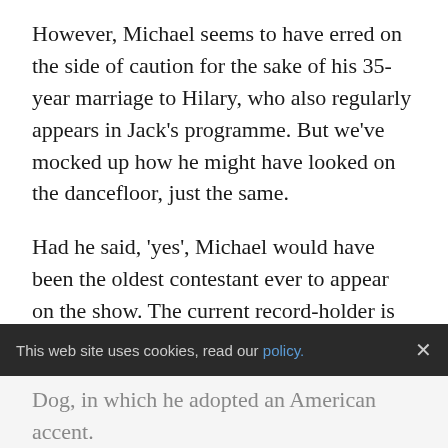However, Michael seems to have erred on the side of caution for the sake of his 35-year marriage to Hilary, who also regularly appears in Jack's programme. But we've mocked up how he might have looked on the dancefloor, just the same.
Had he said, 'yes', Michael would have been the oldest contestant ever to appear on the show. The current record-holder is Birds of a Feather star Leslie Joseph, who was 71 when she took part in 2016.
Jack was on Norton's sofa to talk about his role
Dog, in which he adopted an American accent.
He joked: 'What a lot of actors do is go for one
This web site uses cookies, read our policy.